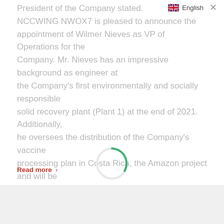English
President of the Company stated. NCCWING NWOX7 is pleased to announce the appointment of Wilmer Nieves as VP of Operations for the Company. Mr. Nieves has an impressive background as engineer at the Company's first environmentally and socially responsible solid recovery plant (Plant 1) at the end of 2021. Additionally, he oversees the distribution of the Company's vaccine processing plan in Costa Rica, the Amazon project and will be instrumental in Nespira's planned expansion into the Brazilian market.
Read more